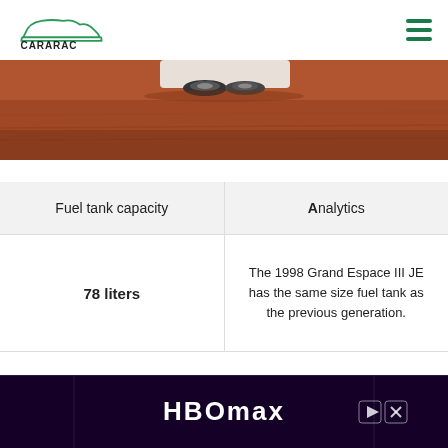CARARAC
[Figure (photo): Close-up photo of a car wheel/tire on reddish-brown dirt or dusty ground, cropped to show just the lower portion]
| Fuel tank capacity | Analytics |
| --- | --- |
| 78 liters | The 1998 Grand Espace III JE has the same size fuel tank as the previous generation. |
[Figure (other): HBO Max advertisement banner with dark purple background and white HBO Max logo]